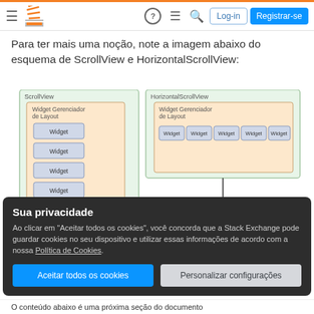Stack Overflow navigation with hamburger menu, logo, help, chat, search, Log-in, Registrar-se buttons
Para ter mais uma noção, note a imagem abaixo do esquema de ScrollView e HorizontalScrollView:
[Figure (engineering-diagram): Diagram showing ScrollView (vertical, with Widget Gerenciador de Layout containing 5 stacked Widget boxes) and HorizontalScrollView (with Widget Gerenciador de Layout containing 5 side-by-side Widget boxes), connected to a Barra de Rolagem box with arrows]
Sua privacidade
Ao clicar em "Aceitar todos os cookies", você concorda que a Stack Exchange pode guardar cookies no seu dispositivo e utilizar essas informações de acordo com a nossa Política de Cookies.
Aceitar todos os cookies  Personalizar configurações